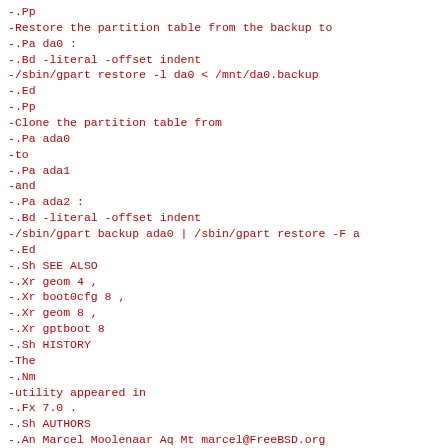-.Pp
-Restore the partition table from the backup to
-.Pa da0 :
-.Bd -literal -offset indent
-/sbin/gpart restore -l da0 < /mnt/da0.backup
-.Ed
-.Pp
-Clone the partition table from
-.Pa ada0
-to
-.Pa ada1
-and
-.Pa ada2 :
-.Bd -literal -offset indent
-/sbin/gpart backup ada0 | /sbin/gpart restore -F a
-.Ed
-.Sh SEE ALSO
-.Xr geom 4 ,
-.Xr boot0cfg 8 ,
-.Xr geom 8 ,
-.Xr gptboot 8
-.Sh HISTORY
-The
-.Nm
-utility appeared in
-.Fx 7.0 .
-.Sh AUTHORS
-.An Marcel Moolenaar Aq Mt marcel@FreeBSD.org
diff --git a/sbin/geom/class/raid/Makefile b/sbin/